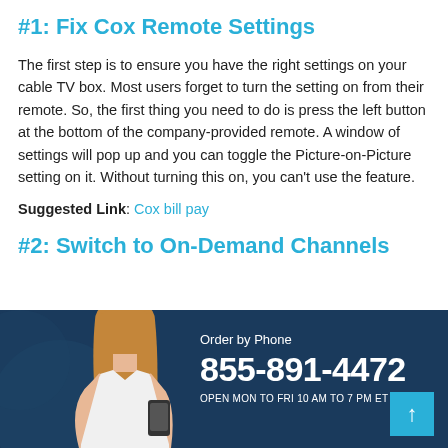#1: Fix Cox Remote Settings
The first step is to ensure you have the right settings on your cable TV box. Most users forget to turn the setting on from their remote. So, the first thing you need to do is press the left button at the bottom of the company-provided remote. A window of settings will pop up and you can toggle the Picture-on-Picture setting on it. Without turning this on, you can't use the feature.
Suggested Link: Cox bill pay
#2: Switch to On-Demand Channels
[Figure (photo): Woman holding a phone, used in an advertisement banner for Cox services]
Order by Phone 855-891-4472 OPEN MON TO FRI 10 AM TO 7 PM ET